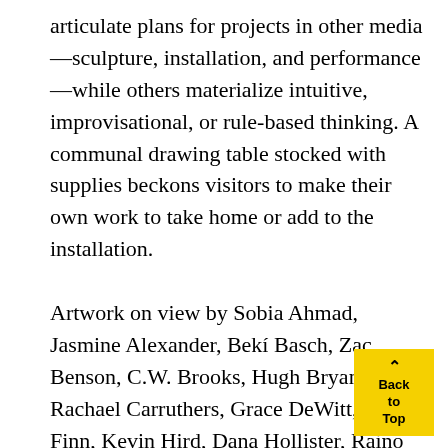articulate plans for projects in other media—sculpture, installation, and performance—while others materialize intuitive, improvisational, or rule-based thinking. A communal drawing table stocked with supplies beckons visitors to make their own work to take home or add to the installation.

Artwork on view by Sobia Ahmad, Jasmine Alexander, Bekí Basch, Zac Benson, C.W. Brooks, Hugh Bryant, Rachael Carruthers, Grace DeWitt, Meirav Finn, Kevin Hird, Dana Hollister, Raino Isto, Nilou Kazemzadeh, Rachel Lebo, Vanessa Liminski, Grant McFarland, Korey Richardson, Dusty Rose, Leah Schaperow, [R] Winkler, Dominique Wohrer, and Jowita Wyszom[irska]
Back to Top